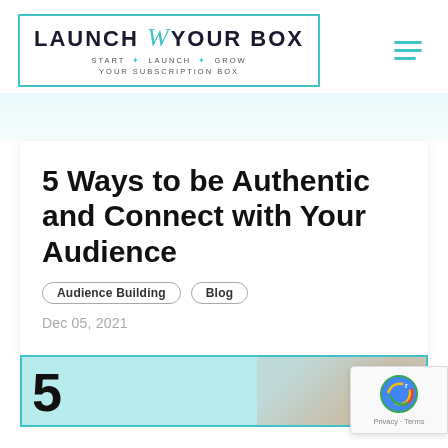[Figure (logo): Launch Your Box logo with teal border rectangle, cursive 'w' watermark, bold text LAUNCH YOUR BOX, subtitle START · LAUNCH · GROW YOUR SUBSCRIPTION BOX]
[Figure (illustration): Hamburger menu icon with three teal horizontal lines]
5 Ways to be Authentic and Connect with Your Audience
Audience Building
Blog
Dec 05, 2021
[Figure (infographic): Preview image showing large number 5 on teal background on left, photo of a woman on right]